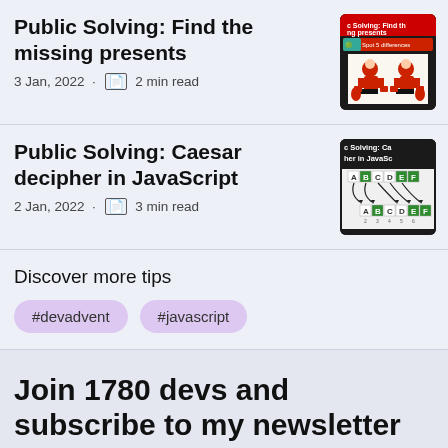Public Solving: Find the missing presents
3 Jan, 2022 · 2 min read
[Figure (screenshot): Thumbnail image showing 'Public Solving: Find the missing presents' article with two Santa Claus figures and a 'Spot 5 differences' game interface]
Public Solving: Caesar decipher in JavaScript
2 Jan, 2022 · 3 min read
[Figure (screenshot): Thumbnail image showing 'Public Solving: Caesar decipher in JavaScript' article with a Caesar cipher diagram showing letters A B C D E F shifting]
Discover more tips
#devadvent
#javascript
Join 1780 devs and subscribe to my newsletter